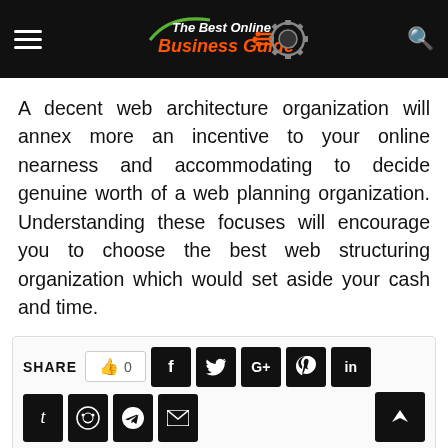The Best Online Business Guide — website header navigation bar
A decent web architecture organization will annex more an incentive to your online nearness and accommodating to decide genuine worth of a web planning organization. Understanding these focuses will encourage you to choose the best web structuring organization which would set aside your cash and time.
[Figure (infographic): Share bar with like button showing count 0, and social media share buttons: Facebook (f), Twitter bird, Google+ (G+), Pinterest (p), LinkedIn (in), Tumblr (t), Reddit circle, Telegram paper plane, Email envelope. Scroll-to-top arrow button on the right.]